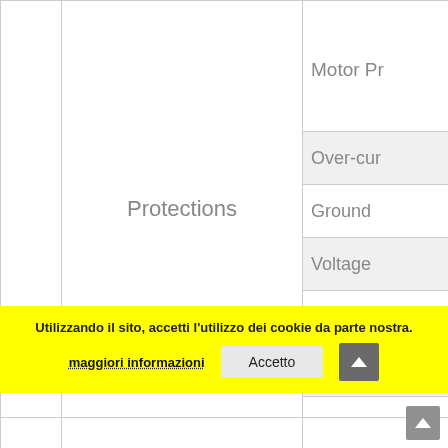|  |  |  |
| --- | --- | --- |
|  | Protections | Motor Pr... |
|  |  | Over-cur... |
|  |  | Ground |
|  |  | Voltage |
|  |  | Mains  I... |
|  |  | Over-tem... |
|  |  |  |
|  |  | Protectio... |
|  |  |  |
Utilizzando il sito, accetti l'utilizzo dei cookie da parte nostra. maggiori informazioni  Accetto